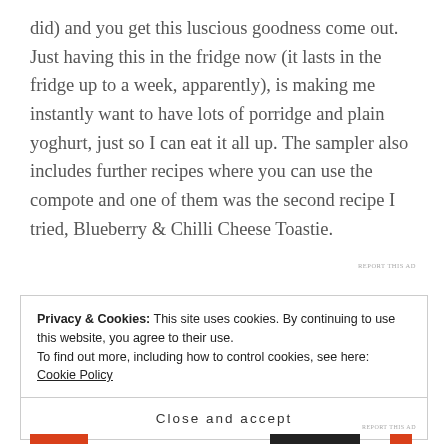did) and you get this luscious goodness come out. Just having this in the fridge now (it lasts in the fridge up to a week, apparently), is making me instantly want to have lots of porridge and plain yoghurt, just so I can eat it all up. The sampler also includes further recipes where you can use the compote and one of them was the second recipe I tried, Blueberry & Chilli Cheese Toastie.
REPORT THIS AD
Privacy & Cookies: This site uses cookies. By continuing to use this website, you agree to their use.
To find out more, including how to control cookies, see here: Cookie Policy
Close and accept